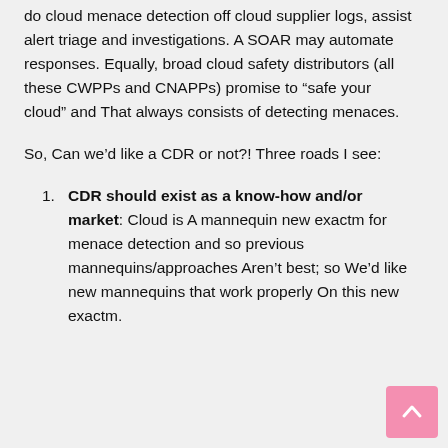do cloud menace detection off cloud supplier logs, assist alert triage and investigations. A SOAR may automate responses. Equally, broad cloud safety distributors (all these CWPPs and CNAPPs) promise to “safe your cloud” and That always consists of detecting menaces.
So, Can we’d like a CDR or not?! Three roads I see:
CDR should exist as a know-how and/or market: Cloud is A mannequin new exactm for menace detection and so previous mannequins/approaches Aren’t best; so We’d like new mannequins that work properly On this new exactm.